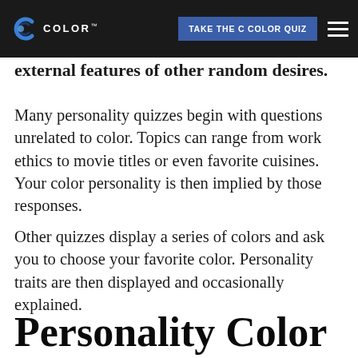the questions we convey. Your color personality could be asked of TAKE THE C COLOR QUIZ external features of other random desires.
Many personality quizzes begin with questions unrelated to color. Topics can range from work ethics to movie titles or even favorite cuisines. Your color personality is then implied by those responses.
Other quizzes display a series of colors and ask you to choose your favorite color. Personality traits are then displayed and occasionally explained.
Personality Color